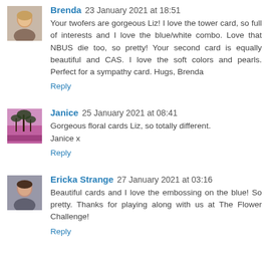[Figure (photo): Avatar photo of Brenda - woman with blond hair]
Brenda 23 January 2021 at 18:51
Your twofers are gorgeous Liz! I love the tower card, so full of interests and I love the blue/white combo. Love that NBUS die too, so pretty! Your second card is equally beautiful and CAS. I love the soft colors and pearls. Perfect for a sympathy card. Hugs, Brenda
Reply
[Figure (photo): Avatar photo of Janice - palm trees sunset]
Janice 25 January 2021 at 08:41
Gorgeous floral cards Liz, so totally different.
Janice x
Reply
[Figure (photo): Avatar photo of Ericka Strange - woman with dark hair]
Ericka Strange 27 January 2021 at 03:16
Beautiful cards and I love the embossing on the blue! So pretty. Thanks for playing along with us at The Flower Challenge!
Reply